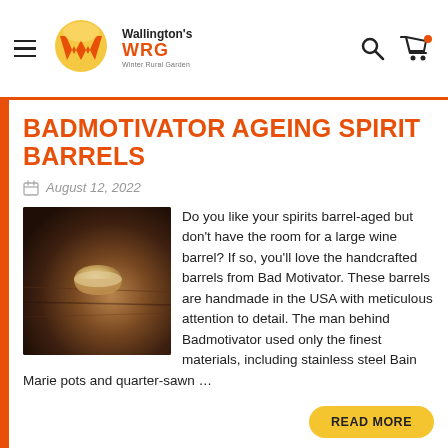Wallington's WRG — Winter Rural Garden — navigation header
BADMOTIVATOR AGEING SPIRIT BARRELS
August 12, 2022
[Figure (photo): Close-up photo of a small wooden cup or vessel sitting on a wooden surface, dark moody background]
Do you like your spirits barrel-aged but don't have the room for a large wine barrel? If so, you'll love the handcrafted barrels from Bad Motivator. These barrels are handmade in the USA with meticulous attention to detail. The man behind Badmotivator used only the finest materials, including stainless steel Bain Marie pots and quarter-sawn …
READ MORE